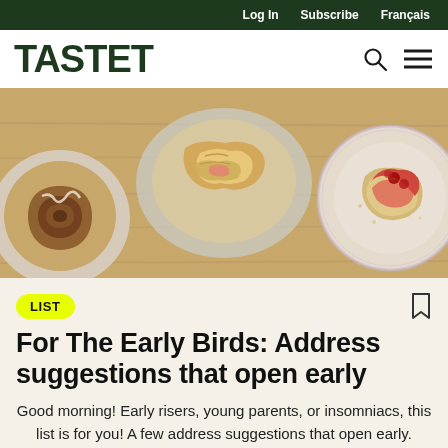Log In   Subscribe   Français
TASTET
[Figure (photo): Overhead view of breakfast pastries on plates on a wooden table. Left plate has a cinnamon roll, center plate has torn croissant/pastry, right plate has a scone or biscuit with red berry jam.]
LIST
For The Early Birds: Address suggestions that open early
Good morning! Early risers, young parents, or insomniacs, this list is for you! A few address suggestions that open early.